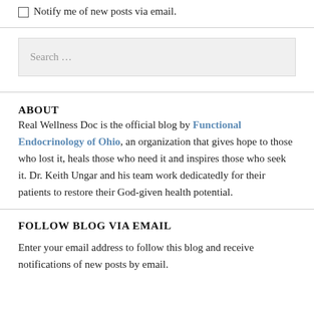Notify me of new posts via email.
Search …
ABOUT
Real Wellness Doc is the official blog by Functional Endocrinology of Ohio, an organization that gives hope to those who lost it, heals those who need it and inspires those who seek it. Dr. Keith Ungar and his team work dedicatedly for their patients to restore their God-given health potential.
FOLLOW BLOG VIA EMAIL
Enter your email address to follow this blog and receive notifications of new posts by email.